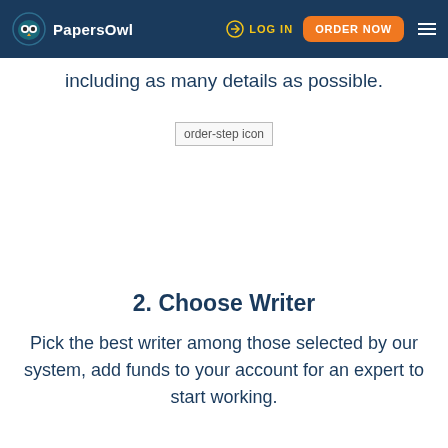PapersOwl | LOG IN | ORDER NOW
including as many details as possible.
[Figure (illustration): order-step icon placeholder image]
2. Choose Writer
Pick the best writer among those selected by our system, add funds to your account for an expert to start working.